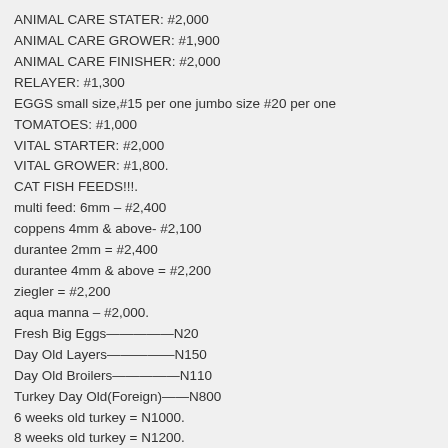ANIMAL CARE STATER: #2,000
ANIMAL CARE GROWER: #1,900
ANIMAL CARE FINISHER: #2,000
RELAYER: #1,300
EGGS small size,#15 per one jumbo size #20 per one
TOMATOES: #1,000
VITAL STARTER: #2,000
VITAL GROWER: #1,800.
CAT FISH FEEDS!!!.
multi feed: 6mm – #2,400
coppens 4mm & above- #2,100
durantee 2mm = #2,400
durantee 4mm & above = #2,200
ziegler = #2,200
aqua manna – #2,000.
Fresh Big Eggs——————N20
Day Old Layers——————N150
Day Old Broilers——————N110
Turkey Day Old(Foreign)——N800
6 weeks old turkey = N1000.
8 weeks old turkey = N1200.
Turkey Day Old (Local)——N250
point of lay turkeys = N2000 (7 months)
White Cockerel.——————N30
Black Cockerel.——————N50
Pullet. ——————————N150
point of lay pullets = N900 (16 weeks)